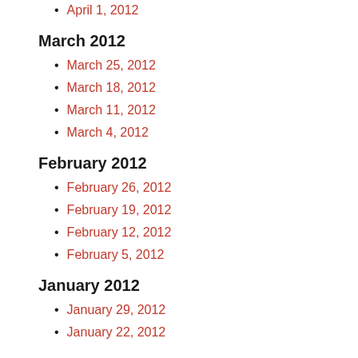April 1, 2012
March 2012
March 25, 2012
March 18, 2012
March 11, 2012
March 4, 2012
February 2012
February 26, 2012
February 19, 2012
February 12, 2012
February 5, 2012
January 2012
January 29, 2012
January 22, 2012